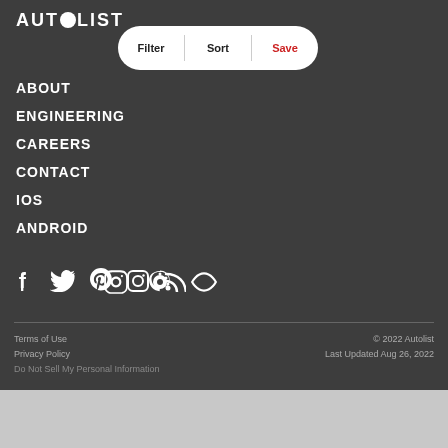[Figure (logo): Autolist logo in white text with circular icon replacing the 'O']
[Figure (infographic): White pill-shaped button bar with Filter, Sort, Save options]
ABOUT
ENGINEERING
CAREERS
CONTACT
iOS
ANDROID
[Figure (infographic): Social media icons: Facebook, Twitter, Pinterest, Instagram, RSS feed]
Terms of Use | Privacy Policy | Do Not Sell My Personal Information | © 2022 Autolist | Last Updated Aug 26, 2022